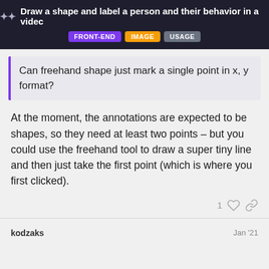Draw a shape and label a person and their behavior in a video
Can freehand shape just mark a single point in x, y format?
At the moment, the annotations are expected to be shapes, so they need at least two points – but you could use the freehand tool to draw a super tiny line and then just take the first point (which is where you first clicked).
kodzaks
Jan '21